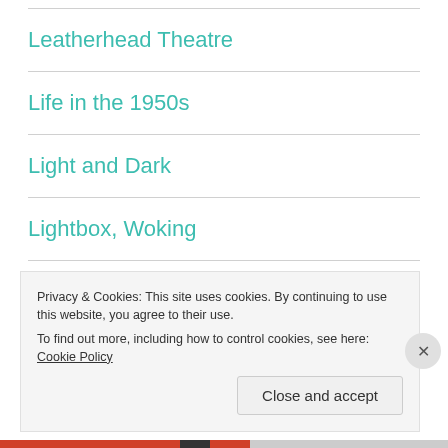Leatherhead Theatre
Life in the 1950s
Light and Dark
Lightbox, Woking
Lock Gates
London
Privacy & Cookies: This site uses cookies. By continuing to use this website, you agree to their use.
To find out more, including how to control cookies, see here: Cookie Policy
Close and accept